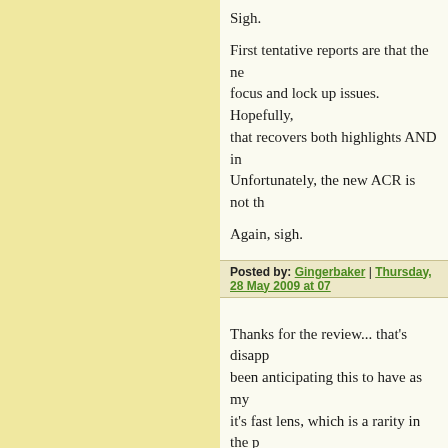Sigh.
First tentative reports are that the new focus and lock up issues. Hopefully, that recovers both highlights AND in Unfortunately, the new ACR is not th
Again, sigh.
Posted by: Gingerbaker | Thursday, 28 May 2009 at 07
Thanks for the review... that's disapp been anticipating this to have as my it's fast lens, which is a rarity in the p Guess I will go with the Panasonic L more reasonably priced.
Posted by: JPH | Thursday, 28 May 2009 at 07:04 AM
Please, can panasonic buy Sigma and m4/3rds?